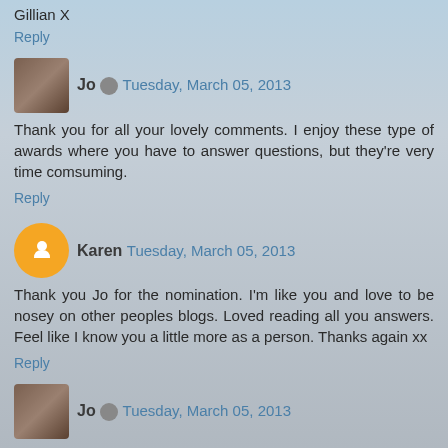Gillian X
Reply
Jo  Tuesday, March 05, 2013
Thank you for all your lovely comments. I enjoy these type of awards where you have to answer questions, but they're very time comsuming.
Reply
Karen  Tuesday, March 05, 2013
Thank you Jo for the nomination. I'm like you and love to be nosey on other peoples blogs. Loved reading all you answers. Feel like I know you a little more as a person. Thanks again xx
Reply
Jo  Tuesday, March 05, 2013